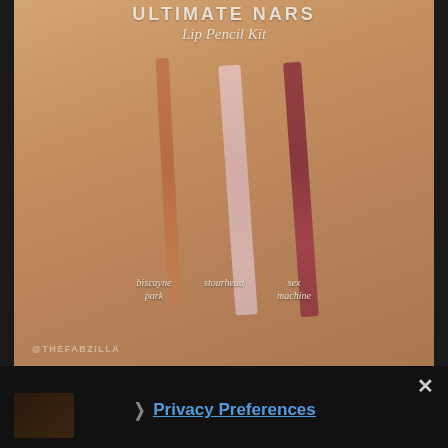[Figure (photo): Photo of arm skin swatches showing three NARS lip pencil colors: biscayne park (peachy-terracotta), stourhead (sheer pink), and sex machine (deep berry-red), with brand title at top and watermark at bottom]
ULTIMATE NARS Lip Pencil Kit
biscayne park    stourhead    sex machine
@THEFABZILLA
[Figure (screenshot): Dark bottom bar with X close button and privacy preferences link]
› Privacy Preferences